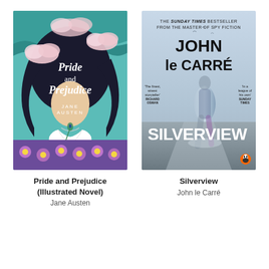[Figure (illustration): Book cover of Pride and Prejudice (Illustrated Novel) by Jane Austen, showing a young woman in a white dress with dark flowing hair that blends into decorative clouds and teal waves, with purple flowers in the foreground.]
Pride and Prejudice
(Illustrated Novel)
Jane Austen
[Figure (illustration): Book cover of Silverview by John le Carré, showing a blurred silhouette of a person walking. Text reads: THE SUNDAY TIMES BESTSELLER FROM THE MASTER OF SPY FICTION. JOHN leCARRÉ. SILVERVIEW. Quotes from Richard Osman and Sunday Times.]
Silverview
John le Carré